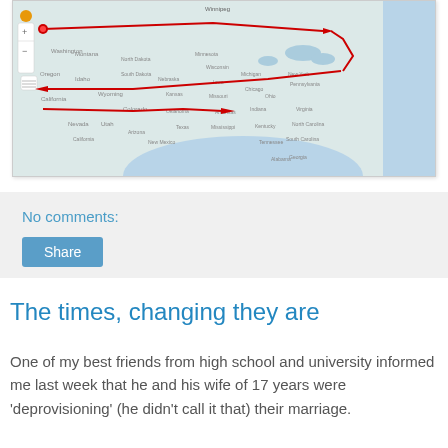[Figure (map): A Google Maps style map of the United States showing a red arrow route tracing across the country from west to east and back, with state names visible. A zoom control is visible on the left side.]
No comments:
Share
The times, changing they are
One of my best friends from high school and university informed me last week that he and his wife of 17 years were 'deprovisioning' (he didn't call it that) their marriage.